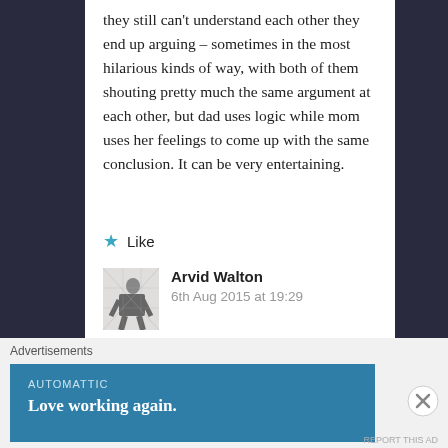they still can't understand each other they end up arguing – sometimes in the most hilarious kinds of way, with both of them shouting pretty much the same argument at each other, but dad uses logic while mom uses her feelings to come up with the same conclusion. It can be very entertaining.
★ Like
Arvid Walton
6th Aug 2015 at 19:29
I couldn't agree more with your second paragraph. My parents both use logic to back up arguments, but because they both use opposite logic types (Te/Ti).
Advertisements
[Figure (screenshot): Advertisement banner for Automattic with text 'Love working again.']